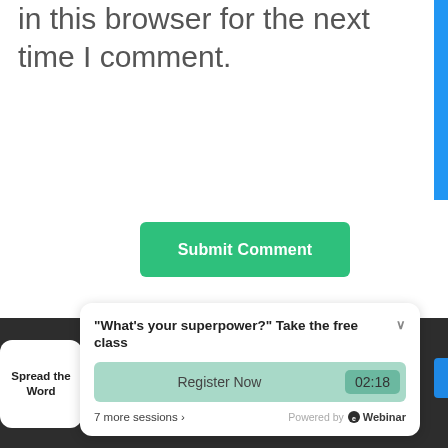in this browser for the next time I comment.
[Figure (screenshot): Green 'Submit Comment' button]
This site uses Akismet to reduce spam. Learn how your comment data is processed.
[Figure (screenshot): eWebinar popup widget: 'What's your superpower? Take the free class' with Register Now button, 02:18 timer, 7 more sessions, Powered by eWebinar. Also shows Spread the Word button and SMS app icon.]